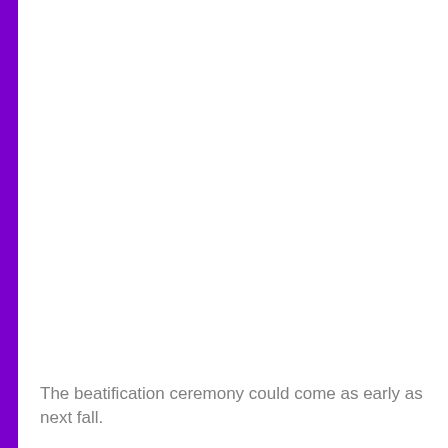The beatification ceremony could come as early as next fall.